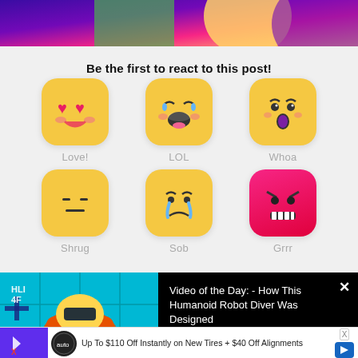[Figure (photo): Colorful banner image at top with purple, green, yellow mascot characters]
Be the first to react to this post!
[Figure (infographic): Grid of 6 emoji reaction buttons: Love! (heart eyes), LOL (laughing with tears), Whoa (surprised), Shrug (neutral), Sob (crying), Grrr (angry red face)]
[Figure (screenshot): Video of the Day overlay: Humanoid robot diver underwater thumbnail with title text]
Video of the Day: - How This Humanoid Robot Diver Was Designed
[Figure (infographic): Advertisement banner: Up To $110 Off Instantly on New Tires + $40 Off Alignments]